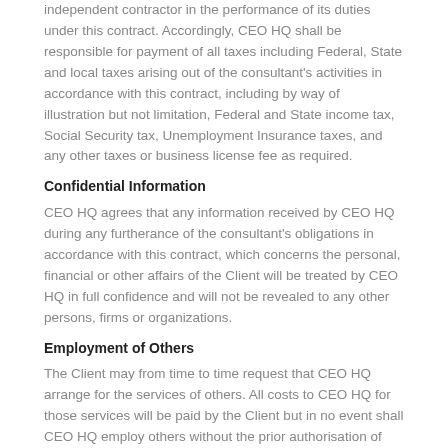independent contractor in the performance of its duties under this contract. Accordingly, CEO HQ shall be responsible for payment of all taxes including Federal, State and local taxes arising out of the consultant's activities in accordance with this contract, including by way of illustration but not limitation, Federal and State income tax, Social Security tax, Unemployment Insurance taxes, and any other taxes or business license fee as required.
Confidential Information
CEO HQ agrees that any information received by CEO HQ during any furtherance of the consultant's obligations in accordance with this contract, which concerns the personal, financial or other affairs of the Client will be treated by CEO HQ in full confidence and will not be revealed to any other persons, firms or organizations.
Employment of Others
The Client may from time to time request that CEO HQ arrange for the services of others. All costs to CEO HQ for those services will be paid by the Client but in no event shall CEO HQ employ others without the prior authorisation of the Client.